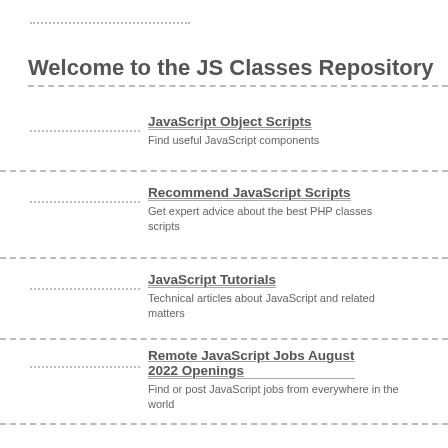Welcome to the JS Classes Repository
JavaScript Object Scripts
Find useful JavaScript components
Recommend JavaScript Scripts
Get expert advice about the best PHP classes scripts
JavaScript Tutorials
Technical articles about JavaScript and related matters
Remote JavaScript Jobs August 2022 Openings
Find or post JavaScript jobs from everywhere in the world